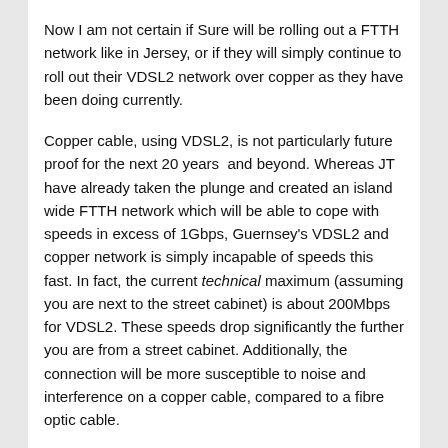Now I am not certain if Sure will be rolling out a FTTH network like in Jersey, or if they will simply continue to roll out their VDSL2 network over copper as they have been doing currently.
Copper cable, using VDSL2, is not particularly future proof for the next 20 years  and beyond. Whereas JT have already taken the plunge and created an island wide FTTH network which will be able to cope with speeds in excess of 1Gbps, Guernsey's VDSL2 and copper network is simply incapable of speeds this fast. In fact, the current technical maximum (assuming you are next to the street cabinet) is about 200Mbps for VDSL2. These speeds drop significantly the further you are from a street cabinet. Additionally, the connection will be more susceptible to noise and interference on a copper cable, compared to a fibre optic cable.
Whilst I applaud Sure's continued work in delivering high speed internet to Guernsey (and who can forget the dark days of 1Mbps ADSL), I think that if Sure isn't planning to go down the FTTH route then they are being a bit short